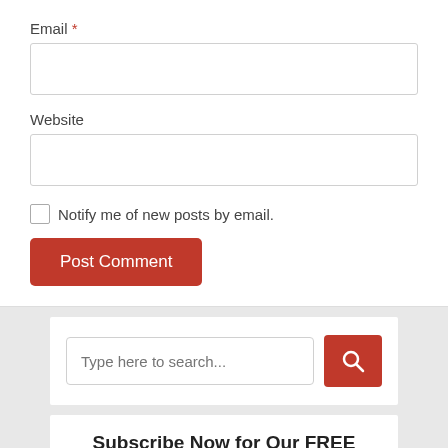Email *
Website
Notify me of new posts by email.
Post Comment
Type here to search...
Subscribe Now for Our FREE Newsletter!